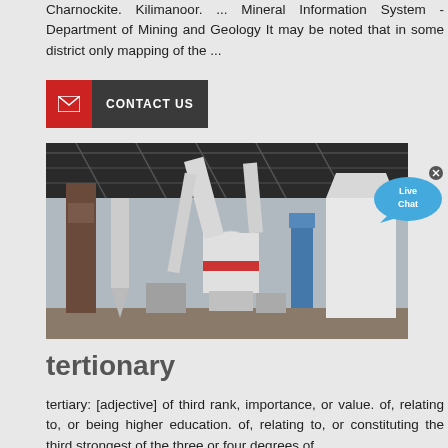Charnockite. Kilimanoor. ... Mineral Information System - Department of Mining and Geology It may be noted that in some district only mapping of the ...
[Figure (other): Contact Us button with red envelope icon and dark grey background]
[Figure (photo): Industrial grinding/milling plant with white cylindrical machinery, pipes, conveyors under a large dark roof structure]
[Figure (other): Live Chat speech bubble button in blue]
tertionary
tertiary: [adjective] of third rank, importance, or value. of, relating to, or being higher education. of, relating to, or constituting the third strongest of the three or four degrees of